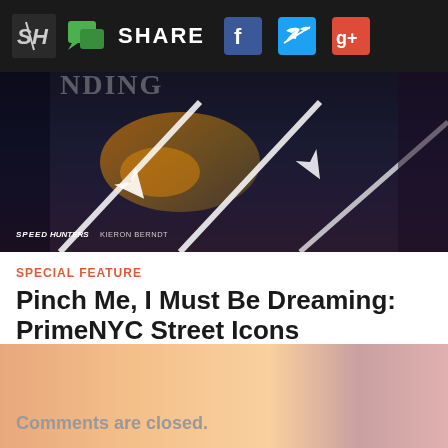SH | SHARE | Facebook | Twitter | Google+
[Figure (photo): Aerial/street-level photo of a road with white arrow lane markings and orange/yellow light reflections, with SPEEDHUNTERS KIERON BERNDT watermark]
SPECIAL FEATURE
Pinch Me, I Must Be Dreaming: PrimeNYC Street Icons
December 28, 2020  /  24 Comments
COMMENTS
Comments are closed.